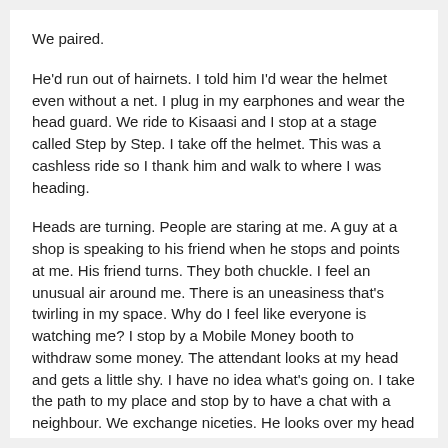We paired.
He'd run out of hairnets. I told him I'd wear the helmet even without a net. I plug in my earphones and wear the head guard. We ride to Kisaasi and I stop at a stage called Step by Step. I take off the helmet. This was a cashless ride so I thank him and walk to where I was heading.
Heads are turning. People are staring at me. A guy at a shop is speaking to his friend when he stops and points at me. His friend turns. They both chuckle. I feel an unusual air around me. There is an uneasiness that's twirling in my space. Why do I feel like everyone is watching me? I stop by a Mobile Money booth to withdraw some money. The attendant looks at my head and gets a little shy. I have no idea what's going on. I take the path to my place and stop by to have a chat with a neighbour. We exchange niceties. He looks over my head but says nothing. Our neighbourhood dogs run behind me as I get to my door. They bark. Whatever that meant. I chase them away.